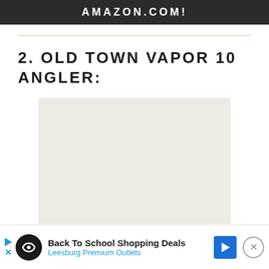AMAZON.COM!
2. OLD TOWN VAPOR 10 ANGLER:
[Figure (other): Light grey rectangular image placeholder for Old Town Vapor 10 Angler kayak product image]
Back To School Shopping Deals
Leesburg Premium Outlets